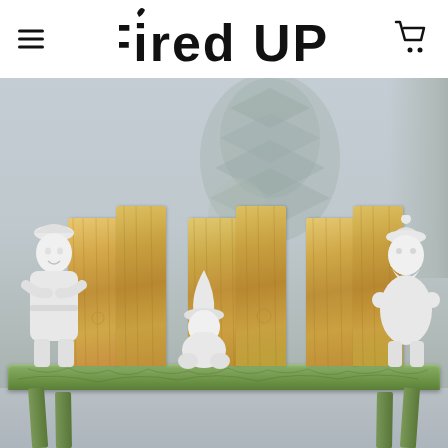Fired UP!
[Figure (photo): Three white ceramic gnome figurines displayed on a green crackle-painted bench with natural wood cedar planks standing behind them. Background shows blurred decorative plant textures in gray tones. The gnomes are unpainted white bisqueware. Left gnome is tall standing, center gnome is small and squatting, right gnome is tall standing.]